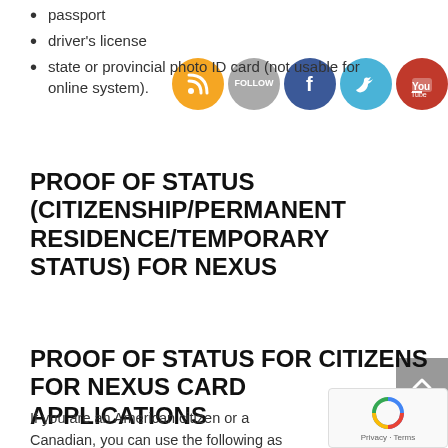passport
driver's license
state or provincial photo ID card (not usable for online system).
[Figure (infographic): Social media icons: RSS (orange), Follow (grey), Facebook (blue), Twitter (light blue), YouTube (red)]
PROOF OF STATUS (CITIZENSHIP/PERMANENT RESIDENCE/TEMPORARY STATUS) FOR NEXUS
PROOF OF STATUS FOR CITIZENS FOR NEXUS CARD APPLICATIONS
If you are an American citizen or a Canadian, you can use the following as proof of citizenship: